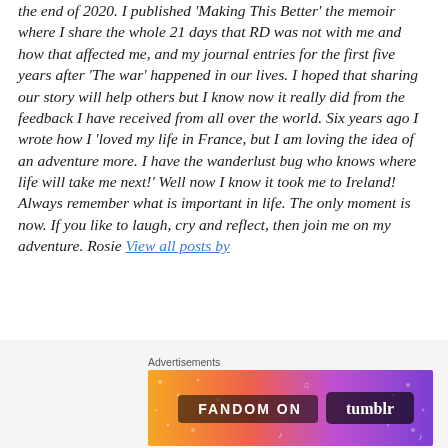the end of 2020. I published 'Making This Better' the memoir where I share the whole 21 days that RD was not with me and how that affected me, and my journal entries for the first five years after 'The war' happened in our lives. I hoped that sharing our story will help others but I know now it really did from the feedback I have received from all over the world. Six years ago I wrote how I 'loved my life in France, but I am loving the idea of an adventure more. I have the wanderlust bug who knows where life will take me next!' Well now I know it took me to Ireland! Always remember what is important in life. The only moment is now. If you like to laugh, cry and reflect, then join me on my adventure. Rosie View all posts by
Advertisements
[Figure (illustration): Fandom on Tumblr advertisement banner with colorful gradient background (orange to purple) and white text reading FANDOM ON tumblr with decorative icons]